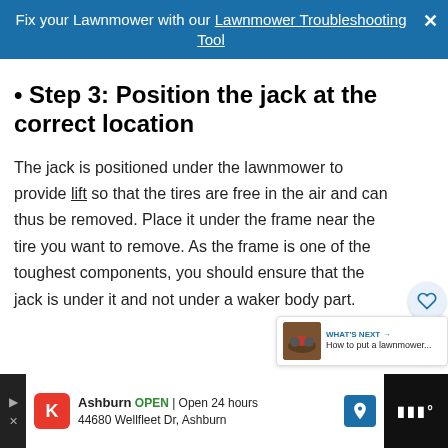Fix your Lawnmower with our Lawnmower Troubleshooting Tool
Step 3: Position the jack at the correct location
Step 3: Position the jack at the correct location
The jack is positioned under the lawnmower to provide lift so that the tires are free in the air and can thus be removed. Place it under the frame near the tire you want to remove. As the frame is one of the toughest components, you should ensure that the jack is under it and not under a waker body part.